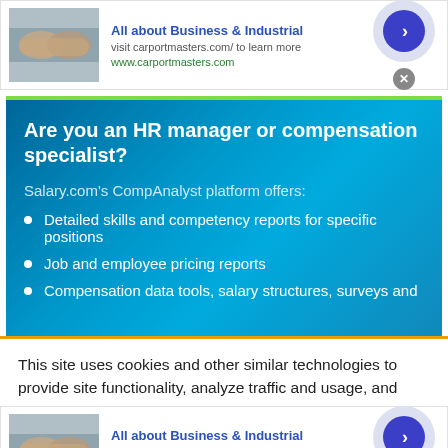[Figure (infographic): Top advertisement banner: handshake photo on left, ad text in center, blue arrow button in circle on right with X close button. Text reads 'All about Business & Industrial', 'visit carportmasters.com/ to learn more', 'www.carportmasters.com']
[Figure (infographic): Blue gradient promotional box with green top border. Header: 'Are you an HR manager or compensation specialist?'. Subheading: 'Salary.com's CompAnalyst platform offers:'. Bullet points: 'Detailed skills and competency reports for specific positions', 'Job and employee pricing reports', 'Compensation data tools, salary structures, surveys and']
This site uses cookies and other similar technologies to provide site functionality, analyze traffic and usage, and
[Figure (infographic): Bottom advertisement banner (duplicate of top): handshake photo on left, ad text in center, blue arrow button in circle on right with X close button. Text reads 'All about Business & Industrial', 'visit carportmasters.com/ to learn more', 'www.carportmasters.com']